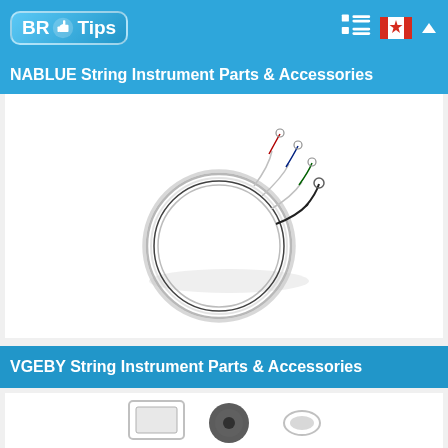BR Tips — NABLUE String Instrument Parts & Accessories
NABLUE String Instrument Parts & Accessories
[Figure (photo): Coiled violin/instrument strings bundled together with colored tips (red, blue, green) on a white background]
VGEBY String Instrument Parts & Accessories
[Figure (photo): Partial view of string instrument parts/accessories on white background]